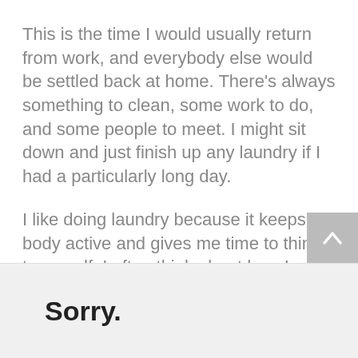This is the time I would usually return from work, and everybody else would be settled back at home. There's always something to clean, some work to do, and some people to meet. I might sit down and just finish up any laundry if I had a particularly long day.
I like doing laundry because it keeps my body active and gives me time to think to myself. I often think about how I wish Haiti could function better. If we had better medical care, then I wouldn't have to send my son all the way to the Dominican Republic for his operation.
Sorry.